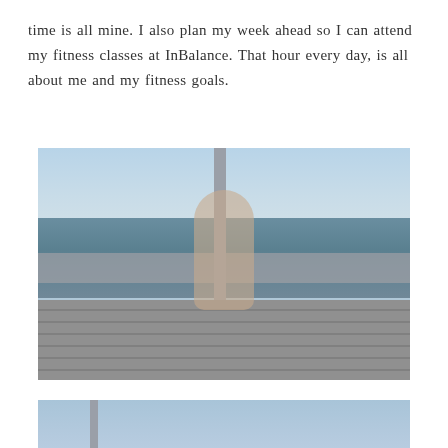time is all mine. I also plan my week ahead so I can attend my fitness classes at InBalance. That hour every day, is all about me and my fitness goals.
[Figure (photo): Woman with curly hair wearing a pastel plaid romper and sunglasses, standing on a wooden boardwalk/pier with metal railing, water and sky in the background. She is posing with one hand touching her hair.]
[Figure (photo): Partial view of a blue sky with a pole/post visible, appears to be the top portion of another outdoor photo.]